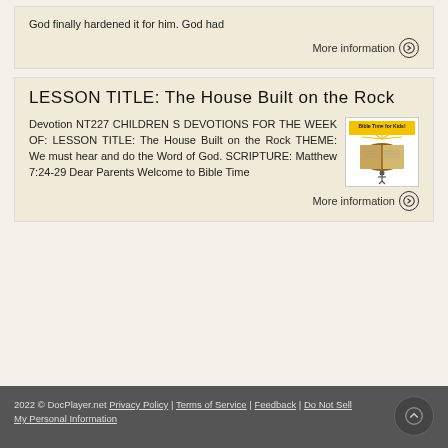God finally hardened it for him. God had
More information →
LESSON TITLE: The House Built on the Rock
Devotion NT227 CHILDREN S DEVOTIONS FOR THE WEEK OF: LESSON TITLE: The House Built on the Rock THEME: We must hear and do the Word of God. SCRIPTURE: Matthew 7:24-29 Dear Parents Welcome to Bible Time
[Figure (illustration): Bible Time for Kids book cover showing an open bible with rays of light]
More information →
2022 © DocPlayer.net Privacy Policy | Terms of Service | Feedback | Do Not Sell My Personal Information